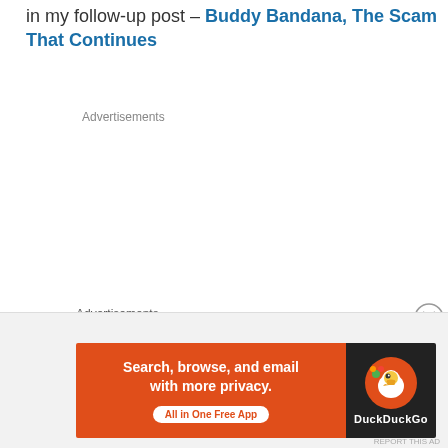in my follow-up post – Buddy Bandana, The Scam That Continues
Advertisements
Advertisements
[Figure (other): DuckDuckGo advertisement banner: orange left panel with text 'Search, browse, and email with more privacy. All in One Free App' and dark right panel with DuckDuckGo duck logo and brand name.]
REPORT THIS AD